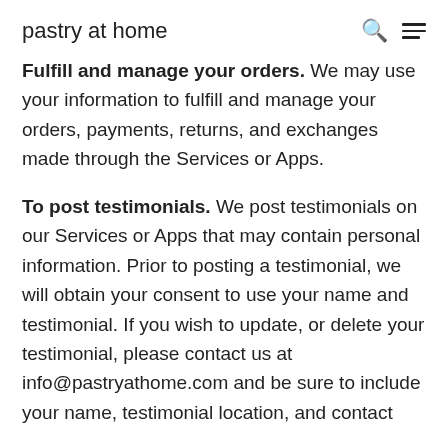pastry at home
Fulfill and manage your orders. We may use your information to fulfill and manage your orders, payments, returns, and exchanges made through the Services or Apps.
To post testimonials. We post testimonials on our Services or Apps that may contain personal information. Prior to posting a testimonial, we will obtain your consent to use your name and testimonial. If you wish to update, or delete your testimonial, please contact us at info@pastryathome.com and be sure to include your name, testimonial location, and contact